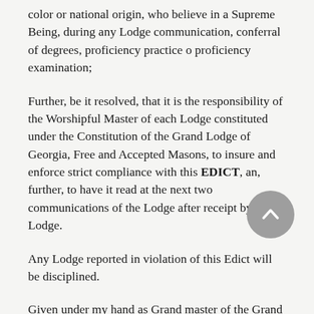color or national origin, who believe in a Supreme Being, during any Lodge communication, conferral of degrees, proficiency practice o proficiency examination;
Further, be it resolved, that it is the responsibility of the Worshipful Master of each Lodge constituted under the Constitution of the Grand Lodge of Georgia, Free and Accepted Masons, to insure and enforce strict compliance with this EDICT, an, further, to have it read at the next two communications of the Lodge after receipt by the Lodge.
Any Lodge reported in violation of this Edict will be disciplined.
Given under my hand as Grand master of the Grand Lodge of Georgia, Free and Accepted Masons, this